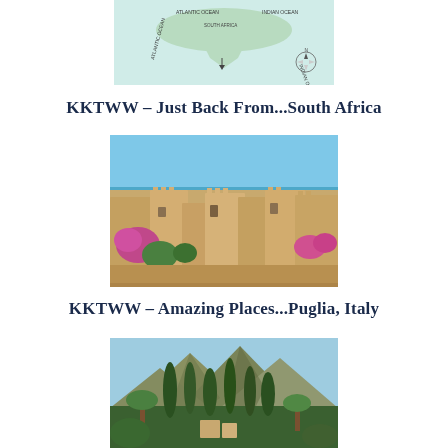[Figure (map): Partial map showing South Africa and surrounding ocean regions with compass rose]
KKTWW – Just Back From...South Africa
[Figure (photo): Aerial rooftop view of whitewashed stone buildings with pink bougainvillea flowers and blue sea in background — Puglia, Italy]
KKTWW – Amazing Places...Puglia, Italy
[Figure (photo): Landscape photo of tall green cypress trees and palm trees with dramatic rocky mountains in background]